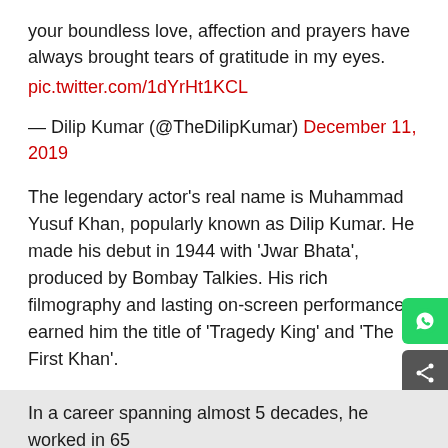your boundless love, affection and prayers have always brought tears of gratitude in my eyes.
pic.twitter.com/1dYrHt1KCL
— Dilip Kumar (@TheDilipKumar) December 11, 2019
The legendary actor's real name is Muhammad Yusuf Khan, popularly known as Dilip Kumar. He made his debut in 1944 with 'Jwar Bhata', produced by Bombay Talkies. His rich filmography and lasting on-screen performances earned him the title of 'Tragedy King' and 'The First Khan'.
Born to Ayesha Begum and Lala Ghulam Sarwar Ali Khan on December 11, 1922, at [Read in App] Bazaar area of Peshawar, the present-day Khyber Pakhtunkhwa, Pakistan, Dilip Kumar is hailed as one of the best actors ever seen in Indian cinema.
In a career spanning almost 5 decades, he worked in 65